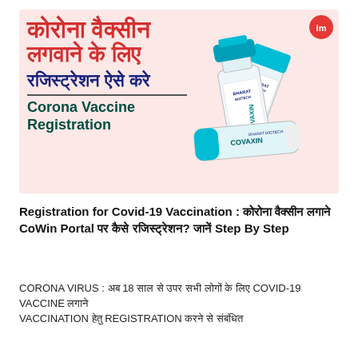[Figure (photo): Banner image for Corona Vaccine Registration. Pink/light red background with large Hindi text in red: कोरोना वैक्सीन लगवाने के लिए रजिस्ट्रेशन ऐसे करे, followed by blue English text: Corona Vaccine Registration. Right side shows Covaxin vaccine bottles with teal caps and 'im' logo badge in top right.]
Registration for Covid-19 Vaccination : कोरोना वैक्सीन लगाने CoWin Portal पर कैसे रजिस्ट्रेशन? जानें Step By Step
CORONA VIRUS : अब 18 साल से ऊपर सभी लोगों के लिए COVID-19 VACCINE लगाने VACCINATION हेतु REGISTRATION करने से संबंधित